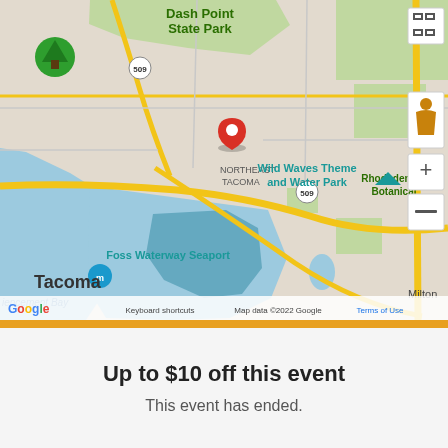[Figure (map): Google Maps screenshot showing Tacoma, WA area with a red location pin near Northeast Tacoma / Port of Tacoma. Map shows landmarks including Dash Point State Park, Foss Waterway Seaport, Wild Waves Theme and Water Park, Rhododendron Botanical, Fife Heights, and Milton. Map controls (zoom +/-, street view person icon, fullscreen) visible on right side. Google logo and copyright notice at bottom: 'Keyboard shortcuts  Map data ©2022 Google  Terms of Use']
Up to $10 off this event
This event has ended.